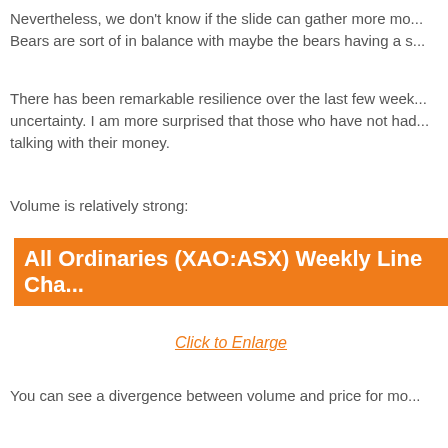Nevertheless, we don't know if the slide can gather more mo... Bears are sort of in balance with maybe the bears having a s...
There has been remarkable resilience over the last few week... uncertainty. I am more surprised that those who have not had... talking with their money.
Volume is relatively strong:
[Figure (other): All Ordinaries (XAO:ASX) Weekly Line Chart banner with orange background and white text, partially visible. Contains a 'Click to Enlarge' link in orange text.]
You can see a divergence between volume and price for mo...
But I also sense a piece of bad news could change all this a... for perfection.
Let's take a quick look at the indices